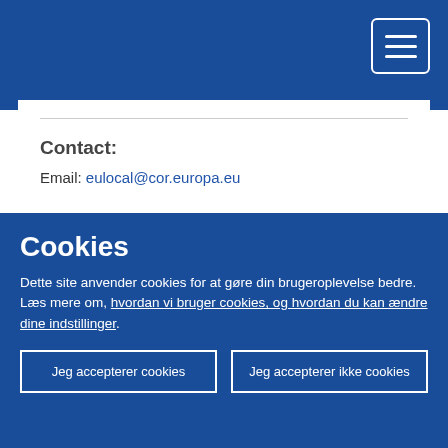[Figure (screenshot): Navy blue top navigation bar with hamburger menu icon (three horizontal white lines) in a white-bordered rounded rectangle button at the top right]
Contact:
Email: eulocal@cor.europa.eu
Del:
Yderligere information
Cookies
Dette site anvender cookies for at gøre din brugeroplevelse bedre. Læs mere om, hvordan vi bruger cookies, og hvordan du kan ændre dine indstillinger.
Jeg accepterer cookies
Jeg accepterer ikke cookies